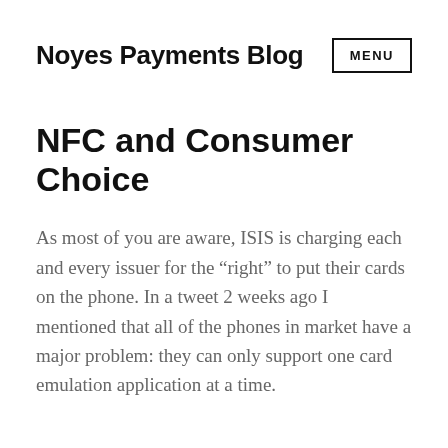Noyes Payments Blog
NFC and Consumer Choice
As most of you are aware, ISIS is charging each and every issuer for the “right” to put their cards on the phone. In a tweet 2 weeks ago I mentioned that all of the phones in market have a major problem: they can only support one card emulation application at a time.